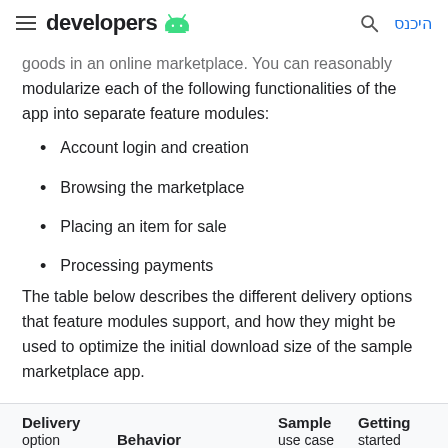developers [Android logo]  [search icon]  היכנס
goods in an online marketplace. You can reasonably modularize each of the following functionalities of the app into separate feature modules:
Account login and creation
Browsing the marketplace
Placing an item for sale
Processing payments
The table below describes the different delivery options that feature modules support, and how they might be used to optimize the initial download size of the sample marketplace app.
| Delivery option | Behavior | Sample use case | Getting started |
| --- | --- | --- | --- |